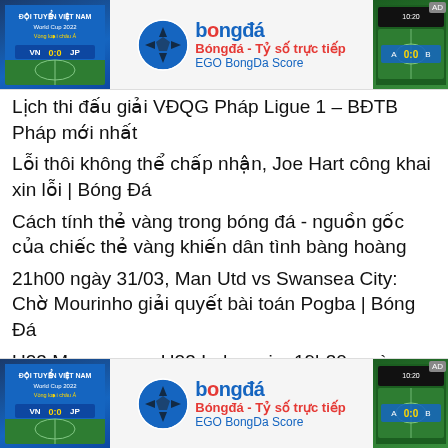[Figure (screenshot): Top advertisement banner for Bongda - Tỷ số trực tiếp / EGO BongDa Score with soccer ball logo, World Cup 2022 image on left, live match score on right]
Lịch thi đấu giải VĐQG Pháp Ligue 1 – BĐTB Pháp mới nhất
Lỗi thôi không thể chấp nhận, Joe Hart công khai xin lỗi | Bóng Đá
Cách tính thẻ vàng trong bóng đá - nguồn gốc của chiếc thẻ vàng khiến dân tình bàng hoàng
21h00 ngày 31/03, Man Utd vs Swansea City: Chờ Mourinho giải quyết bài toán Pogba | Bóng Đá
U23 Myanmar vs U23 Indonesia: 19h30, ngày 02/06
[Figure (screenshot): Bottom advertisement banner for Bongda - Tỷ số trực tiếp / EGO BongDa Score, identical to top banner]